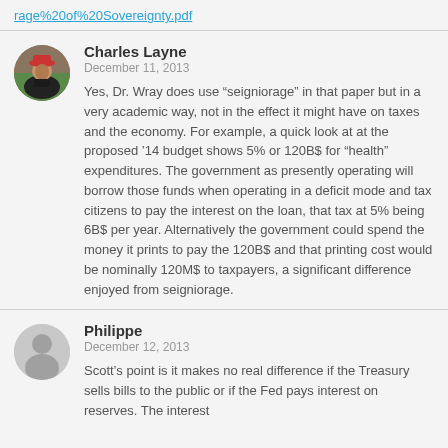rage%20of%20Sovereignty.pdf
Charles Layne
December 11, 2013

Yes, Dr. Wray does use “seigniorage” in that paper but in a very academic way, not in the effect it might have on taxes and the economy. For example, a quick look at at the proposed ’14 budget shows 5% or 120B$ for “health” expenditures. The government as presently operating will borrow those funds when operating in a deficit mode and tax citizens to pay the interest on the loan, that tax at 5% being 6B$ per year. Alternatively the government could spend the money it prints to pay the 120B$ and that printing cost would be nominally 120M$ to taxpayers, a significant difference enjoyed from seigniorage.
Philippe
December 12, 2013

Scott’s point is it makes no real difference if the Treasury sells bills to the public or if the Fed pays interest on reserves. The interest